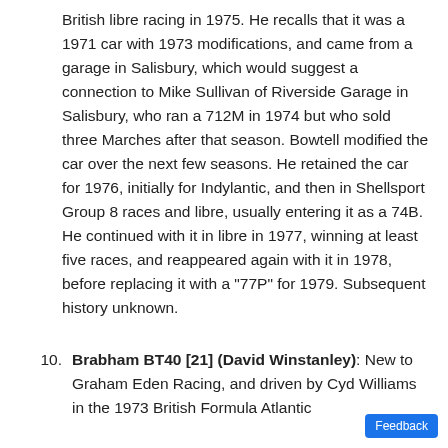British libre racing in 1975. He recalls that it was a 1971 car with 1973 modifications, and came from a garage in Salisbury, which would suggest a connection to Mike Sullivan of Riverside Garage in Salisbury, who ran a 712M in 1974 but who sold three Marches after that season. Bowtell modified the car over the next few seasons. He retained the car for 1976, initially for Indylantic, and then in Shellsport Group 8 races and libre, usually entering it as a 74B. He continued with it in libre in 1977, winning at least five races, and reappeared again with it in 1978, before replacing it with a "77P" for 1979. Subsequent history unknown.
10. Brabham BT40 [21] (David Winstanley): New to Graham Eden Racing, and driven by Cyd Williams in the 1973 British Formula Atlantic